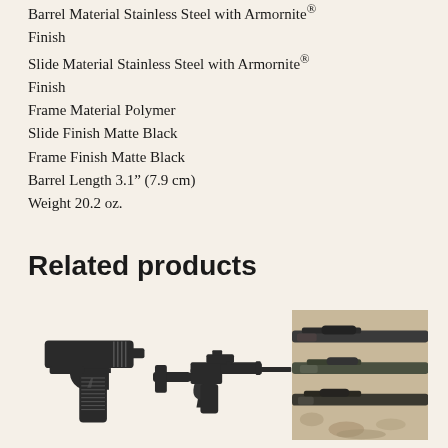Barrel Material Stainless Steel with Armornite® Finish
Slide Material Stainless Steel with Armornite® Finish
Frame Material Polymer
Slide Finish Matte Black
Frame Finish Matte Black
Barrel Length 3.1" (7.9 cm)
Weight 20.2 oz.
Related products
[Figure (photo): Black semi-automatic pistol (handgun) shown against white background]
[Figure (photo): Black AR-style semi-automatic rifle shown against white background]
[Figure (photo): Multiple long guns/rifles displayed on rocky ground, three firearms stacked/arranged]